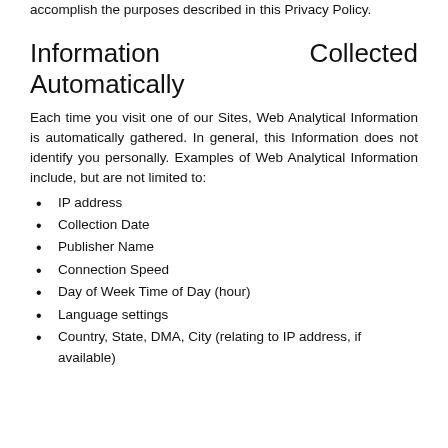accomplish the purposes described in this Privacy Policy.
Information Collected Automatically
Each time you visit one of our Sites, Web Analytical Information is automatically gathered. In general, this Information does not identify you personally. Examples of Web Analytical Information include, but are not limited to:
IP address
Collection Date
Publisher Name
Connection Speed
Day of Week Time of Day (hour)
Language settings
Country, State, DMA, City (relating to IP address, if available)